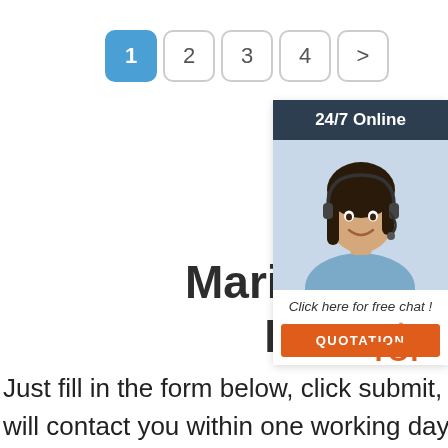[Figure (infographic): Pagination navigation buttons: 1 (active/blue), 2, 3, 4, > (next)]
[Figure (infographic): 24/7 Online sidebar widget with photo of woman with headset, 'Click here for free chat!' text, and orange QUOTATION button]
Marine Bunker Petro[leum] Hoses Dealer
Just fill in the form below, click submit, you will get the price list, and we will contact you within one working day. Please also feel free to contact us via
[Figure (logo): TOP logo in orange and dark colors]